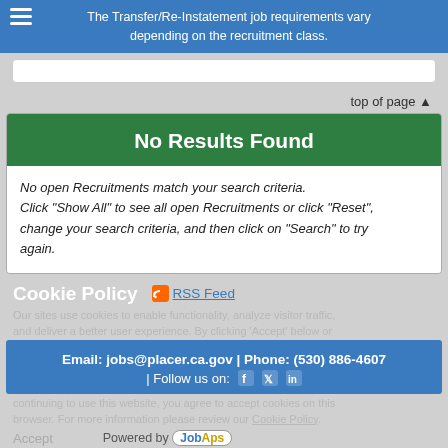The Transfer/Re-Instatement job requirements vary depending on the recruitment class.
top of page ▲
No Results Found
No open Recruitments match your search criteria. Click "Show All" to see all open Recruitments or click "Reset", change your search criteria, and then click on "Search" to try again.
Cookie Policy
RSS Feed
Our sites use cookies to enable functionality, analyze visitor traffic, and deliver a better user experience. By clicking 'Accept' below or continuing to use this website, you agree to accept cookies on this browser. For more information please review our Cookie Policy.
Email: jobs@placer.ca.gov | Phone: (530) 886-4607 | Follow us on: f t in
Accept
Powered by JobAps
©JobAps, Inc. 2022 - All Rights Reserved.